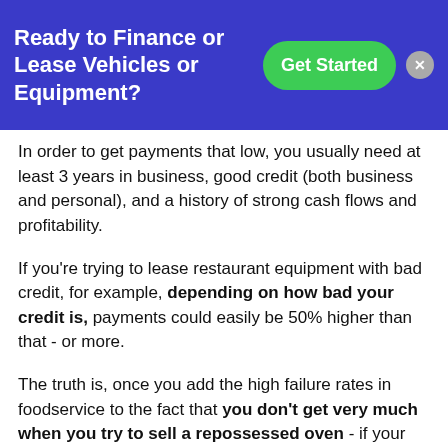[Figure (other): Advertisement banner with blue background showing text 'Ready to Finance or Lease Vehicles or Equipment?' with a green 'Get Started' button and a close (X) button]
In order to get payments that low, you usually need at least 3 years in business, good credit (both business and personal), and a history of strong cash flows and profitability.
If you're trying to lease restaurant equipment with bad credit, for example, depending on how bad your credit is, payments could easily be 50% higher than that - or more.
The truth is, once you add the high failure rates in foodservice to the fact that you don't get very much when you try to sell a repossessed oven - if your credit is really bad, sometimes there is no way to get you approved for leasing no matter what the rates.
Restaurant equipment leasing rates for startups are not likely to be low - because you're asking a financier to